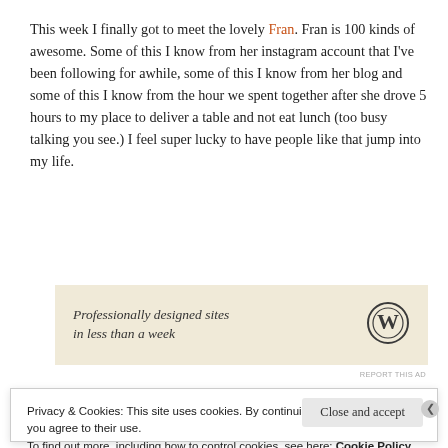This week I finally got to meet the lovely Fran. Fran is 100 kinds of awesome. Some of this I know from her instagram account that I've been following for awhile, some of this I know from her blog and some of this I know from the hour we spent together after she drove 5 hours to my place to deliver a table and not eat lunch (too busy talking you see.) I feel super lucky to have people like that jump into my life.
[Figure (other): WordPress advertisement banner: 'Professionally designed sites in less than a week' with WordPress logo]
REPORT THIS AD
Privacy & Cookies: This site uses cookies. By continuing to use this website, you agree to their use. To find out more, including how to control cookies, see here: Cookie Policy